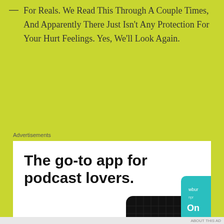— For Reals. We Read This Through A Couple Times, And Apparently There Just Isn't Any Protection For Your Hurt Feelings. Yes, We'll Look Again.
Advertisements
[Figure (illustration): Pocket Casts advertisement. Text reads: 'The go-to app for podcast lovers.' with 'Download now' in orange. Shows app cards including 99% Invisible podcast and The Daily. Pocket Casts logo at bottom left.]
Advertisements
[Figure (illustration): Advertisement banner with dark blue background reading 'Create surveys, polls, quizzes, and forms.' with WordPress and SurveyMonkey logos.]
ABOUT THIS AD